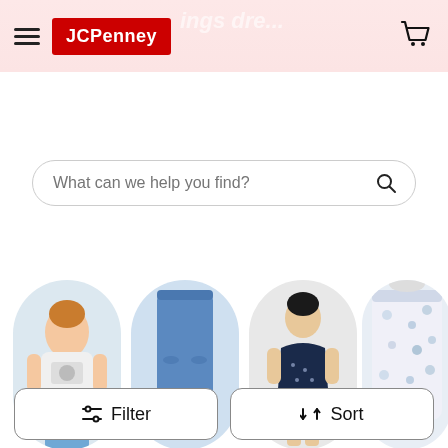[Figure (screenshot): JCPenney website header with hamburger menu, red JCPenney logo, pink promotional background with faint sale text, and shopping cart icon]
[Figure (screenshot): Search bar with placeholder text 'What can we help you find?' and magnifying glass icon]
[Figure (screenshot): Category circles row showing: Shirts And Tops (woman in graphic tee), Jeans (model in jeans), Dresses (woman in dark dress), Pants (partially visible, floral pants)]
Shirts And Tops
Jeans
Dresses
Pants
[Figure (screenshot): Filter and Sort buttons side by side with icons]
[Figure (screenshot): Two product card placeholders (grey rectangles) at the bottom of the page]